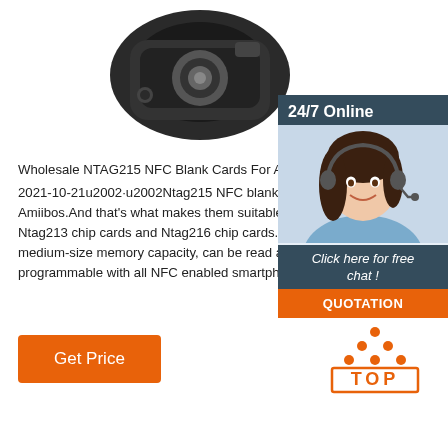[Figure (photo): Product photo of a black wearable/action camera device, partially visible at top of page]
[Figure (photo): 24/7 Online customer service sidebar with photo of smiling woman with headset, 'Click here for free chat!' text, and orange QUOTATION button]
Wholesale NTAG215 NFC Blank Cards For Amiibo · 2021-10-21u2002·u2002Ntag215 NFC blank cards are known for their use in Nintendo Amiibos.And that's what makes them suitable for special applications, where is different from Ntag213 chip cards and Ntag216 chip cards.. Ntag215 NFC blank card is a full NFC card with medium-size memory capacity, can be read and written 10,000 times, and is compatible and programmable with all NFC enabled smartphones and ...
[Figure (other): Orange 'Get Price' button]
[Figure (logo): TOP logo with orange dots and orange bordered text]